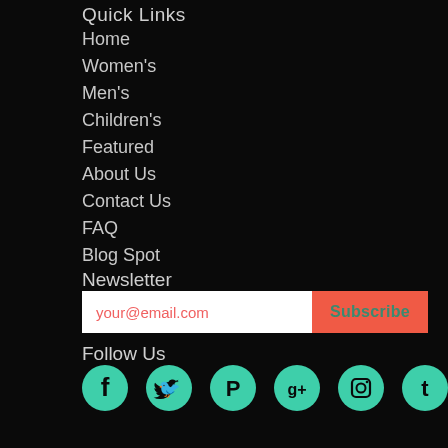Quick Links
Home
Women's
Men's
Children's
Featured
About Us
Contact Us
FAQ
Blog Spot
Newsletter
your@email.com [input] Subscribe [button]
Follow Us
[Figure (infographic): Six circular teal social media icons: Facebook, Twitter, Pinterest, Google+, Instagram, Tumblr]